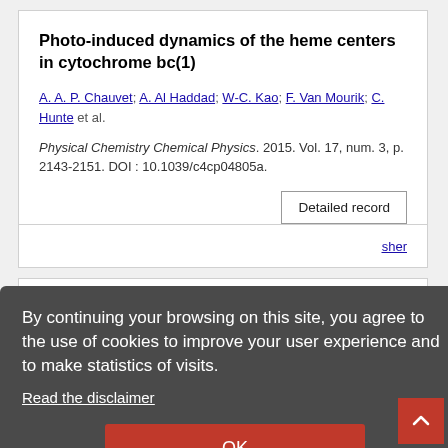Photo-induced dynamics of the heme centers in cytochrome bc(1)
A. A. P. Chauvet; A. Al Haddad; W-C. Kao; F. Van Mourik; C. Hunte et al.
Physical Chemistry Chemical Physics. 2015. Vol. 17, num. 3, p. 2143-2151. DOI : 10.1039/c4cp04805a.
Detailed record
sher
Femtosecond photoelectron and photoion spectrometry ... ultraviolet probe pulses
M. Koch; T. J. A. Wolf; J. Grilj; E. Sistrunk; M. Guenr
By continuing your browsing on this site, you agree to the use of cookies to improve your user experience and to make statistics of visits.
Read the disclaimer
OK